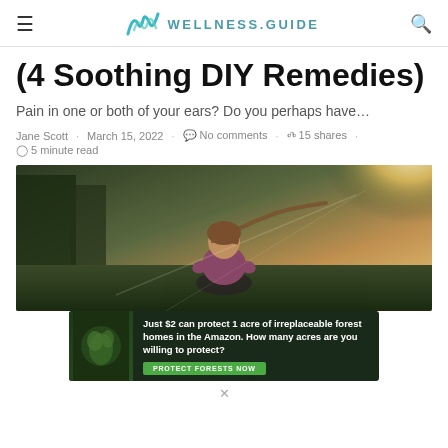WELLNESS.GUIDE
(4 Soothing DIY Remedies)
Pain in one or both of your ears? Do you perhaps have…
Jane Scott · March 15, 2022 · No comments · 15 shares · 5 minute read
[Figure (photo): Child seen from behind, outdoors in sunlit natural setting with golden light]
[Figure (infographic): Advertisement banner: Just $2 can protect 1 acre of irreplaceable forest homes in the Amazon. How many acres are you willing to protect? PROTECT FORESTS NOW]